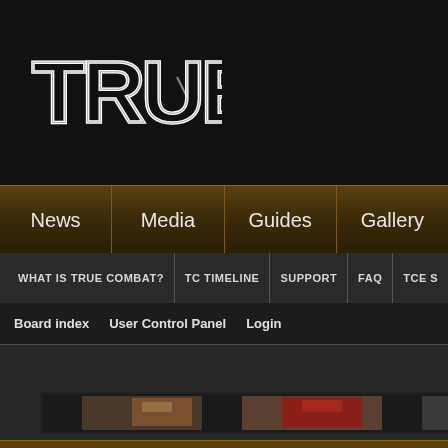[Figure (logo): TRUE combat game logo in white stylized text with geometric letters on dark background]
News | Media | Guides | Gallery
WHAT IS TRUE COMBAT? | TC TIMELINE | SUPPORT | FAQ | TCE S...
Board index   User Control Panel   Login
[Figure (screenshot): Partial image strip showing game/combat imagery on dark background]